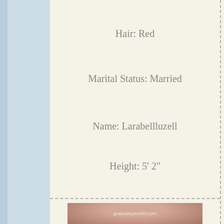Hair: Red
Marital Status: Married
Name: Larabellluzell
Height: 5' 2"
City: Dulce, NM 87528
[Figure (illustration): Row of small icons: a person photo, a broken heart with arrow, a sun emoji, a teal folder/book, a green heart, and another person photo]
[Figure (photo): Partial photo of a person's head with dark hair, watermark text 'graduatejobs360.com']